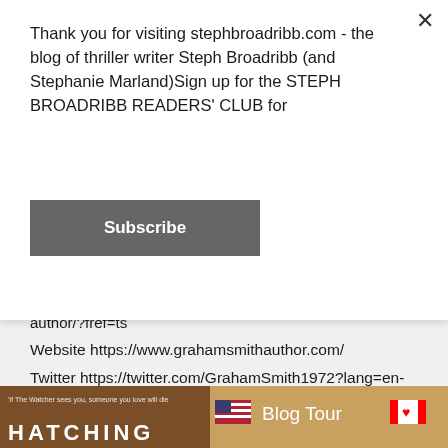Thank you for visiting stephbroadribb.com - the blog of thriller writer Steph Broadribb (and Stephanie Marland)Sign up for the STEPH BROADRIBB READERS' CLUB for
Subscribe
author/?fref=ts
Website https://www.grahamsmithauthor.com/
Twitter https://twitter.com/GrahamSmith1972?lang=en-gb
And be sure to check out all the other great stops along the tour:
[Figure (photo): Blog Tour banner image with US and Canadian flags, dark brown background, with partial text 'HATCHING' visible at the bottom left]